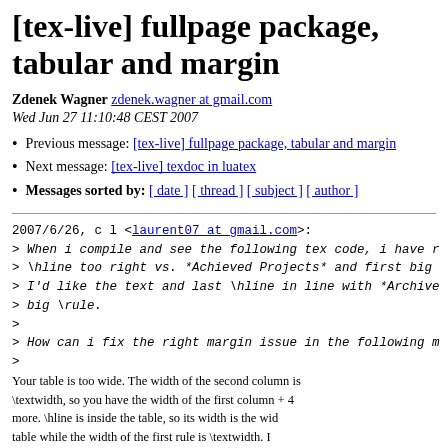[tex-live] fullpage package, tabular and margin
Zdenek Wagner   zdenek.wagner at gmail.com
Wed Jun 27 11:10:48 CEST 2007
Previous message: [tex-live] fullpage package, tabular and margin
Next message: [tex-live] texdoc in luatex
Messages sorted by: [ date ] [ thread ] [ subject ] [ author ]
2007/6/26, c l <laurent07 at gmail.com>:
> When i compile and see the following tex code, i have r
> \hline too right vs. *Achieved Projects* and first big
> I'd like the text and last \hline in line with *Archive
> big \rule.
>
> How can i fix the right margin issue in the following m
>
Your table is too wide. The width of the second column is
\textwidth, so you have the width of the first column + 4
more. \hline is inside the table, so its width is the wid
table while the width of the first rule is \textwidth. I
tabular for such a code. This is my solution: